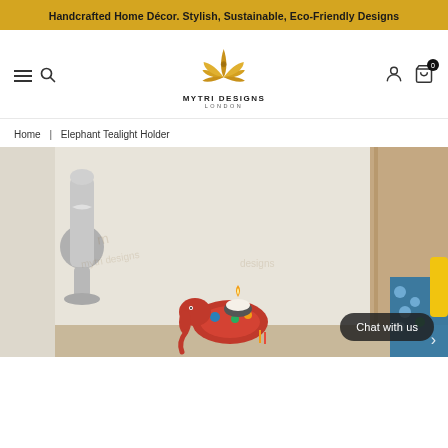Handcrafted Home Décor. Stylish, Sustainable, Eco-Friendly Designs
[Figure (logo): Mytri Designs London logo — golden lotus flower with peacock motif above the brand name]
Home | Elephant Tealight Holder
[Figure (photo): Product photo of a colourful painted elephant tealight holder with a lit candle, displayed on a shelf with a silver vase on the left and blue patterned fabric on the right. Watermarked 'mytri designs'.]
Chat with us